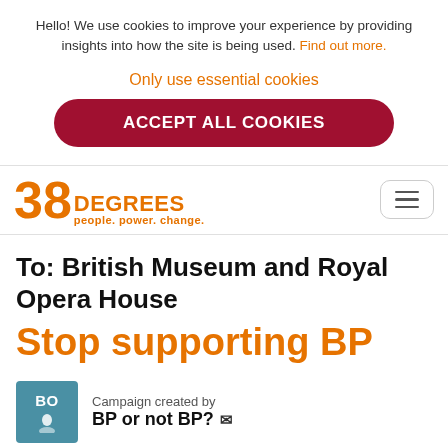Hello! We use cookies to improve your experience by providing insights into how the site is being used. Find out more.
Only use essential cookies
ACCEPT ALL COOKIES
[Figure (logo): 38 Degrees logo with tagline 'people. power. change.' in orange]
To: British Museum and Royal Opera House
Stop supporting BP
Campaign created by BP or not BP?